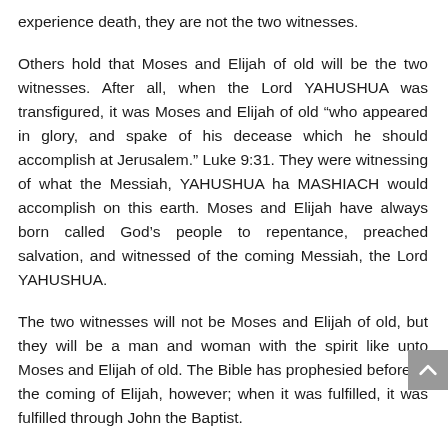experience death, they are not the two witnesses.
Others hold that Moses and Elijah of old will be the two witnesses. After all, when the Lord YAHUSHUA was transfigured, it was Moses and Elijah of old “who appeared in glory, and spake of his decease which he should accomplish at Jerusalem.” Luke 9:31. They were witnessing of what the Messiah, YAHUSHUA ha MASHIACH would accomplish on this earth. Moses and Elijah have always born called God’s people to repentance, preached salvation, and witnessed of the coming Messiah, the Lord YAHUSHUA.
The two witnesses will not be Moses and Elijah of old, but they will be a man and woman with the spirit like unto Moses and Elijah of old. The Bible has prophesied before of the coming of Elijah, however; when it was fulfilled, it was fulfilled through John the Baptist.